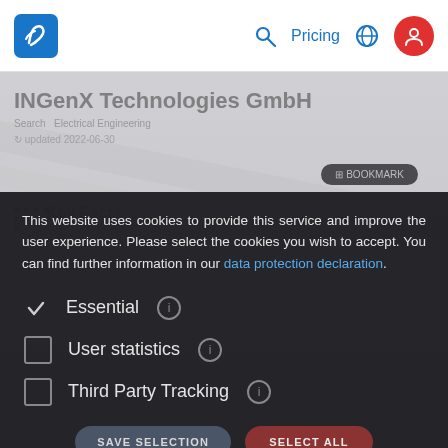[Figure (screenshot): Website navigation bar with blue logo (INgenX), search icon, Pricing link, globe icon, and red user profile icon on white background]
[Figure (screenshot): Blurred background showing INgenX Technologies GmbH website page content with gray overlay]
This website uses cookies to provide this service and improve the user experience. Please select the cookies you wish to accept. You can find further information in our data protection declaration.
✓ Essential ⓘ
☐ User statistics ⓘ
☐ Third Party Tracking ⓘ
SAVE SELECTION   SELECT ALL